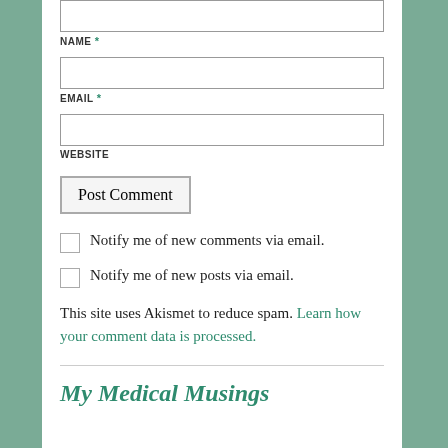NAME *
EMAIL *
WEBSITE
Post Comment
Notify me of new comments via email.
Notify me of new posts via email.
This site uses Akismet to reduce spam. Learn how your comment data is processed.
My Medical Musings